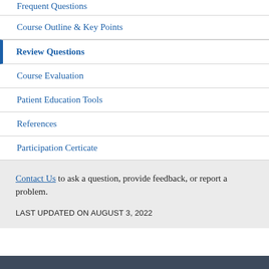Frequent Questions
Course Outline & Key Points
Review Questions
Course Evaluation
Patient Education Tools
References
Participation Certicate
Contact Us to ask a question, provide feedback, or report a problem.
LAST UPDATED ON AUGUST 3, 2022